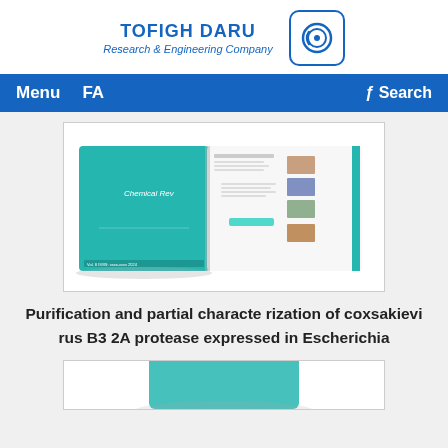TOFIGH DARU Research & Engineering Company
[Figure (logo): Circular logo with blue border and stylized concentric arcs inside, inside a rounded rectangle border in blue]
[Figure (screenshot): Open magazine/journal showing teal/green cover page on left and article pages on right with images and text columns]
Purification and partial characte rization of coxsakievi rus B3 2A protease expressed in Escherichia
[Figure (illustration): Partial view of another open magazine/journal, partially cropped, showing teal color]